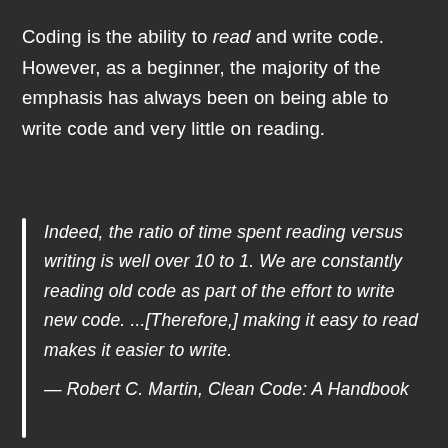Coding is the ability to read and write code. However, as a beginner, the majority of the emphasis has always been on being able to write code and very little on reading.
Indeed, the ratio of time spent reading versus writing is well over 10 to 1. We are constantly reading old code as part of the effort to write new code. ...[Therefore,] making it easy to read makes it easier to write.
— Robert C. Martin, Clean Code: A Handbook